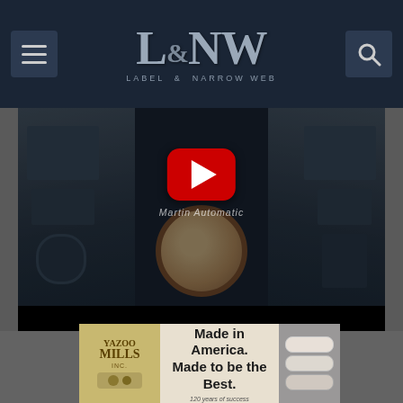L&NW LABEL & NARROW WEB
[Figure (screenshot): YouTube video thumbnail showing Martin Automatic web handling machinery in an industrial setting with a YouTube play button overlay]
[Figure (photo): Yazoo Mills Inc advertisement banner: Made in America. Made to be the Best. 120 years of success]